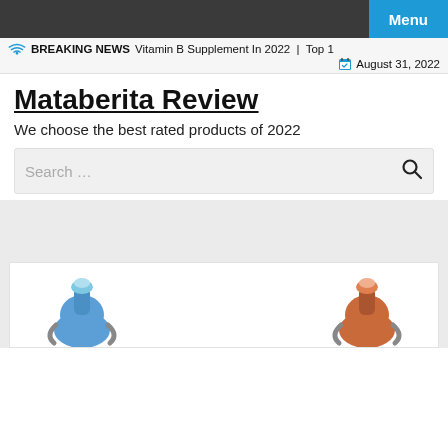Menu
BREAKING NEWS   Vitamin B Supplement In 2022  |  Top 1
August 31, 2022
Mataberita Review
We choose the best rated products of 2022
Search …
[Figure (photo): Two supplement bottles (blue and orange) partially visible at the bottom of the page on a white card background with a light gray hero section above.]